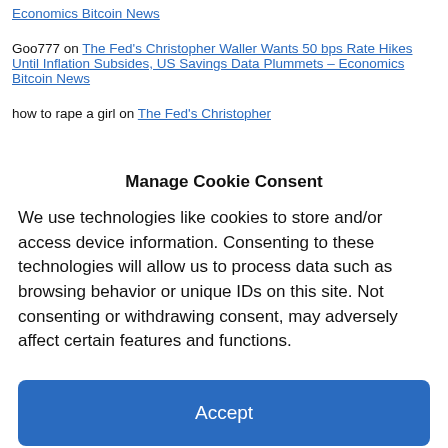Economics Bitcoin News
Goo777 on The Fed's Christopher Waller Wants 50 bps Rate Hikes Until Inflation Subsides, US Savings Data Plummets – Economics Bitcoin News
how to rape a girl on The Fed's Christopher
Manage Cookie Consent
We use technologies like cookies to store and/or access device information. Consenting to these technologies will allow us to process data such as browsing behavior or unique IDs on this site. Not consenting or withdrawing consent, may adversely affect certain features and functions.
Accept
Cookie Policy